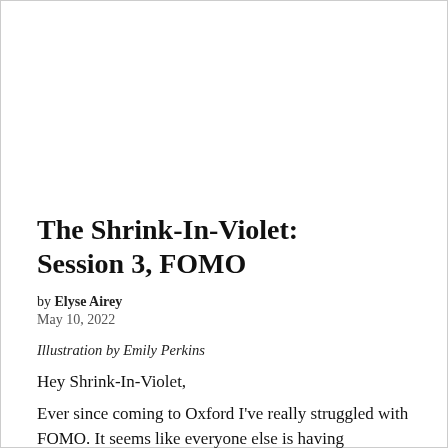The Shrink-In-Violet: Session 3, FOMO
by Elyse Airey
May 10, 2022
Illustration by Emily Perkins
Hey Shrink-In-Violet,
Ever since coming to Oxford I've really struggled with FOMO. It seems like everyone else is having